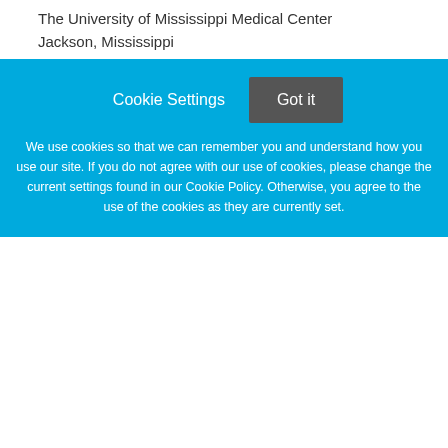The University of Mississippi Medical Center
Jackson, Mississippi
Assistant (tenure-track) to Associate (tenured) Professor in Marketing
University of California Davis
Davis, California
Region Traffic Engineer
Cookie Settings  Got it

We use cookies so that we can remember you and understand how you use our site. If you do not agree with our use of cookies, please change the current settings found in our Cookie Policy. Otherwise, you agree to the use of the cookies as they are currently set.